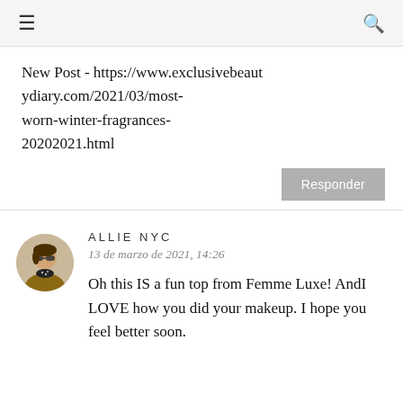≡  🔍
New Post - https://www.exclusivebeautydiary.com/2021/03/most-worn-winter-fragrances-20202021.html
Responder
ALLIE NYC
13 de marzo de 2021, 14:26
Oh this IS a fun top from Femme Luxe! AndI LOVE how you did your makeup. I hope you feel better soon.